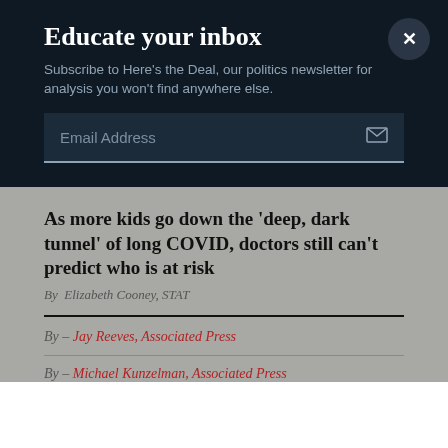Educate your inbox
Subscribe to Here's the Deal, our politics newsletter for analysis you won't find anywhere else.
Email Address
As more kids go down the 'deep, dark tunnel' of long COVID, doctors still can't predict who is at risk
By Elizabeth Cooney, STAT
By – Jay Reeves, Associated Press
By – Michael Kunzelman, Associated Press